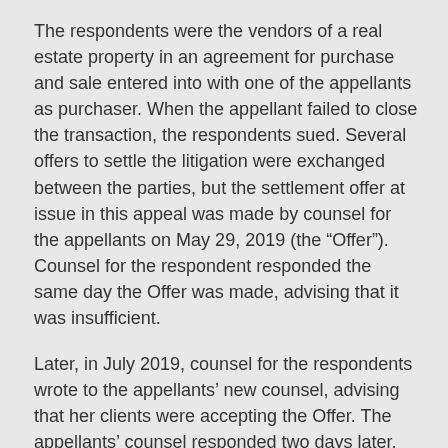The respondents were the vendors of a real estate property in an agreement for purchase and sale entered into with one of the appellants as purchaser. When the appellant failed to close the transaction, the respondents sued. Several offers to settle the litigation were exchanged between the parties, but the settlement offer at issue in this appeal was made by counsel for the appellants on May 29, 2019 (the “Offer”). Counsel for the respondent responded the same day the Offer was made, advising that it was insufficient.
Later, in July 2019, counsel for the respondents wrote to the appellants’ new counsel, advising that her clients were accepting the Offer. The appellants’ counsel responded two days later, stating that there was no offer to settle capable of being accepted, and that the Offer was no longer open for acceptance.
The respondents moved to enforce the settlement based